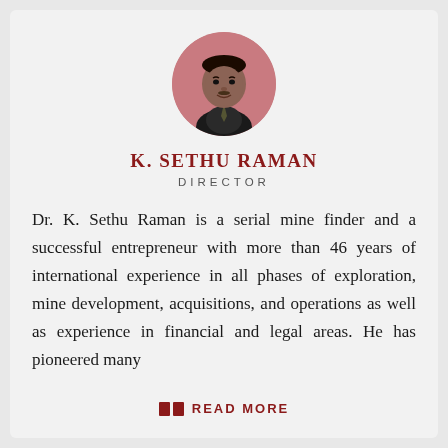[Figure (photo): Circular portrait photo of K. Sethu Raman, a man in a suit with a pink/salmon background]
K. SETHU RAMAN
DIRECTOR
Dr. K. Sethu Raman is a serial mine finder and a successful entrepreneur with more than 46 years of international experience in all phases of exploration, mine development, acquisitions, and operations as well as experience in financial and legal areas. He has pioneered many
READ MORE